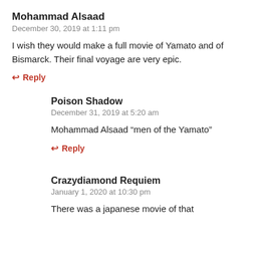Mohammad Alsaad
December 30, 2019 at 1:11 pm
I wish they would make a full movie of Yamato and of Bismarck. Their final voyage are very epic.
↩ Reply
Poison Shadow
December 31, 2019 at 5:20 am
Mohammad Alsaad “men of the Yamato”
↩ Reply
Crazydiamond Requiem
January 1, 2020 at 10:30 pm
There was a japanese movie of that